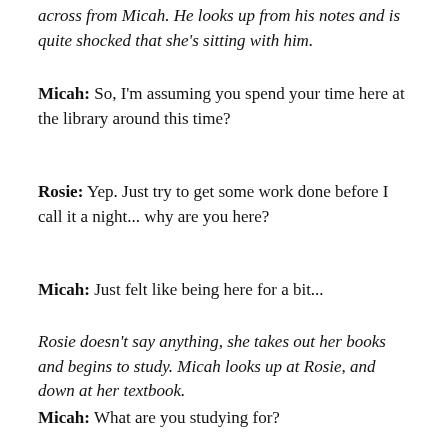across from Micah. He looks up from his notes and is quite shocked that she's sitting with him.
Micah: So, I'm assuming you spend your time here at the library around this time?
Rosie: Yep. Just try to get some work done before I call it a night... why are you here?
Micah: Just felt like being here for a bit...
Rosie doesn't say anything, she takes out her books and begins to study. Micah looks up at Rosie, and down at her textbook.
Micah: What are you studying for?
Rosie: My Art Renaissance class; it's a complete joke, like, why do I need to study art history to just draw and paint?